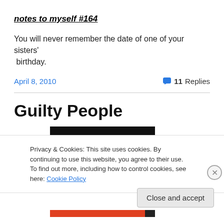notes to myself #164
You will never remember the date of one of your sisters' birthday.
April 8, 2010    11 Replies
Guilty People
[Figure (photo): Dark/black image area at top of post]
Privacy & Cookies: This site uses cookies. By continuing to use this website, you agree to their use.
To find out more, including how to control cookies, see here: Cookie Policy
Close and accept